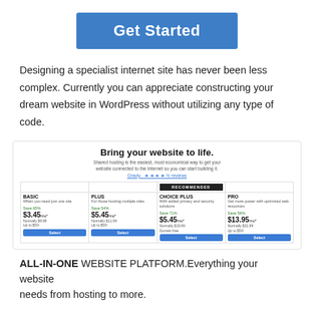Get Started
Designing a specialist internet site has never been less complex. Currently you can appreciate constructing your dream website in WordPress without utilizing any type of code.
[Figure (screenshot): Screenshot of a web hosting pricing page titled 'Bring your website to life.' showing four plan options: BASIC ($3.45/mo), PLUS ($5.45/mo), CHOICE PLUS ($5.45/mo, RECOMMENDED), and PRO ($13.95/mo), each with Save percentages and Select buttons.]
ALL-IN-ONE WEBSITE PLATFORM. Everything your website needs from hosting to more.